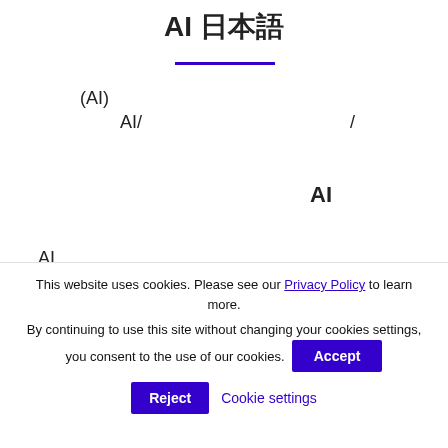AI 日本語
(AI)
AI/　　　　　　　　/
AI
AI
This website uses cookies. Please see our Privacy Policy to learn more. By continuing to use this site without changing your cookies settings, you consent to the use of our cookies.
Accept
Reject
Cookie settings